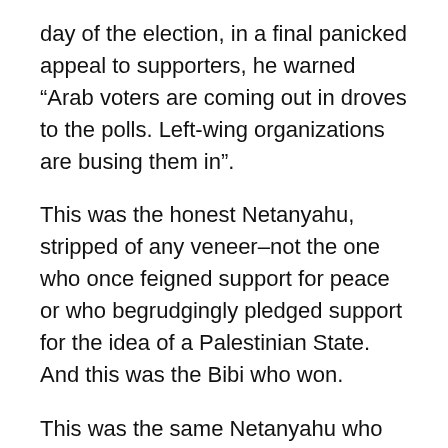day of the election, in a final panicked appeal to supporters, he warned “Arab voters are coming out in droves to the polls. Left-wing organizations are busing them in”.
This was the honest Netanyahu, stripped of any veneer–not the one who once feigned support for peace or who begrudgingly pledged support for the idea of a Palestinian State. And this was the Bibi who won.
This was the same Netanyahu who once greeted the Oslo Accords with a campaign to discredit Yitzak Rabin in Israel and by teaming up with Newt Gingrich (then Republican Speaker of the Congress) to stymie the Clinton Administration’s efforts in Washington. This was the Netanyahu who was elected in 1996 on a platform committed to ending Oslo, and then acted on his